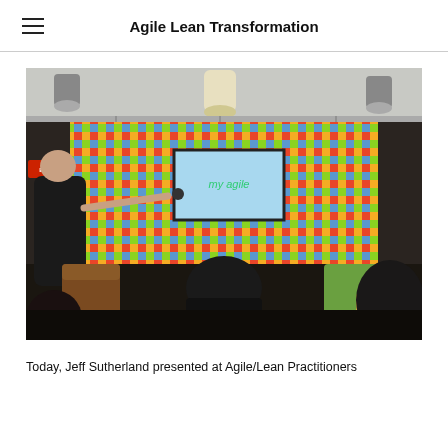Agile Lean Transformation
[Figure (photo): A presenter pointing at a projected screen in a colorful office event space, with audience members seated facing the screen.]
Today, Jeff Sutherland presented at Agile/Lean Practitioners